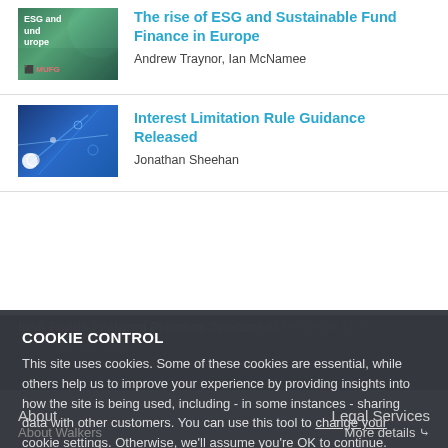[Figure (illustration): Book cover thumbnail for ESG and Sustainable Fund Finance article, green background with MUFG logo]
The rise of ESG and Sustainable Fund Finance in Europe
Andrew Traynor, Ian McNamee
[Figure (illustration): Abstract blue geometric thumbnail for Interest Limitation Rule article]
Interest Limitation Rule Guidance Released
Jonathan Sheehan
COOKIE CONTROL
This site uses cookies. Some of these cookies are essential, while others help us to improve your experience by providing insights into how the site is being used, including - in some instances - sharing data with other customers. You can use this tool to change your cookie settings. Otherwise, we'll assume you're OK to continue.
I'm fine with this
About
Legal Services
More details